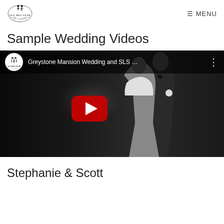ALL BECAUSE HE ASKED — MENU
Sample Wedding Videos
[Figure (screenshot): YouTube video thumbnail showing a black and white photo of a bride and groom slow dancing in a dark setting. The video title reads 'Greystone Mansion Wedding and SLS …' with the All Because He Asked YouTube channel logo on the left and a three-dot menu icon on the right. A red YouTube play button is visible in the center.]
Stephanie & Scott